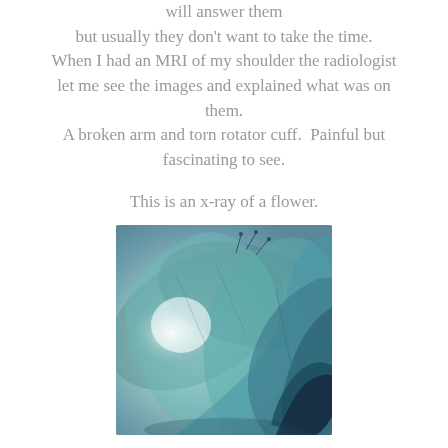will answer them but usually they don't want to take the time. When I had an MRI of my shoulder the radiologist let me see the images and explained what was on them. A broken arm and torn rotator cuff.  Painful but fascinating to see.
This is an x-ray of a flower.
[Figure (photo): An x-ray image of a flower showing translucent petals in shades of teal and blue-green against a light grey-blue background, revealing the internal structure of the flower.]
Even it is interesting and beautiful